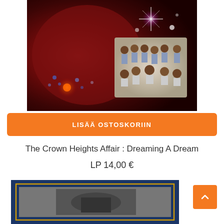[Figure (photo): Album cover for The Crown Heights Affair - Dreaming A Dream. Dark red/maroon psychedelic background with floral/sparkle designs and a group photo of musicians posed together.]
LISÄÄ OSTOSKORIIN
The Crown Heights Affair : Dreaming A Dream
LP 14,00 €
[Figure (photo): Partial view of a second album cover with dark blue background and a gold-bordered inner image showing what appears to be a person or instrument in grayscale.]